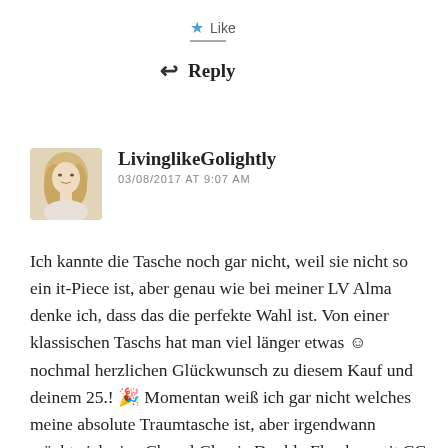★ Like
↩ Reply
[Figure (photo): Avatar photo of a blonde woman]
LivinglikeGolightly
03/08/2017 AT 9:07 AM
Ich kannte die Tasche noch gar nicht, weil sie nicht so ein it-Piece ist, aber genau wie bei meiner LV Alma denke ich, dass das die perfekte Wahl ist. Von einer klassischen Taschs hat man viel länger etwas ☺ nochmal herzlichen Glückwunsch zu diesem Kauf und deinem 25.! 🎉 Momentan weiß ich gar nicht welches meine absolute Traumtasche ist, aber irgendwann möchte ich eine Chanel Classic Double Flap bag mit CC lock 😍 Alles Liebe